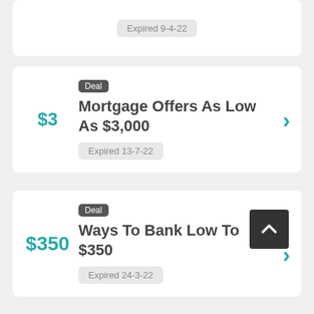Expired 9-4-22
Deal
Mortgage Offers As Low As $3,000
Expired 13-7-22
Deal
Ways To Bank Low To $350
Expired 24-3-22